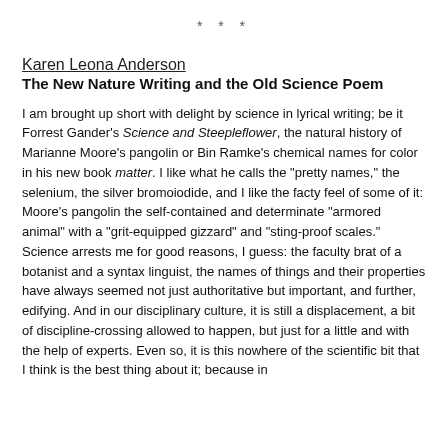* * *
Karen Leona Anderson
The New Nature Writing and the Old Science Poem
I am brought up short with delight by science in lyrical writing; be it Forrest Gander's Science and Steepleflower, the natural history of Marianne Moore's pangolin or Bin Ramke's chemical names for color in his new book matter. I like what he calls the "pretty names," the selenium, the silver bromoiodide, and I like the facty feel of some of it: Moore's pangolin the self-contained and determinate "armored animal" with a "grit-equipped gizzard" and "sting-proof scales." Science arrests me for good reasons, I guess: the faculty brat of a botanist and a syntax linguist, the names of things and their properties have always seemed not just authoritative but important, and further, edifying. And in our disciplinary culture, it is still a displacement, a bit of discipline-crossing allowed to happen, but just for a little and with the help of experts. Even so, it is this nowhere of the scientific bit that I think is the best thing about it; because in